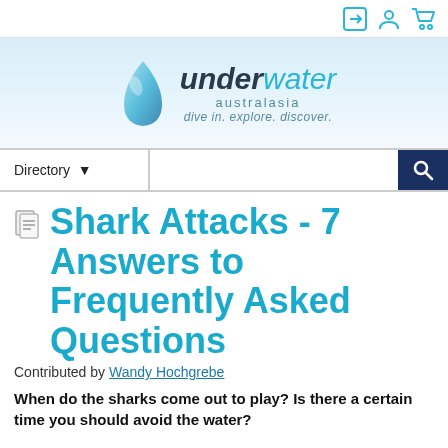Underwater Australasia - dive in. explore. discover.
Shark Attacks - 7 Answers to Frequently Asked Questions
Contributed by Wandy Hochgrebe
When do the sharks come out to play? Is there a certain time you should avoid the water?